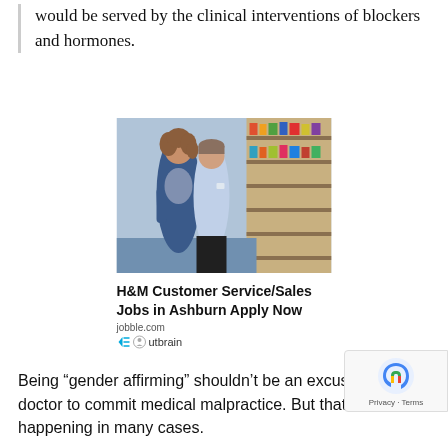would be served by the clinical interventions of blockers and hormones.
[Figure (photo): Two retail workers, a woman with curly hair wearing a blue jacket and a younger man in a light blue shirt, standing in a grocery store aisle lined with products on shelves.]
H&M Customer Service/Sales Jobs in Ashburn Apply Now
jobble.com
Outbrain
Being “gender affirming” shouldn’t be an excuse for a doctor to commit medical malpractice. But that may be happening in many cases.